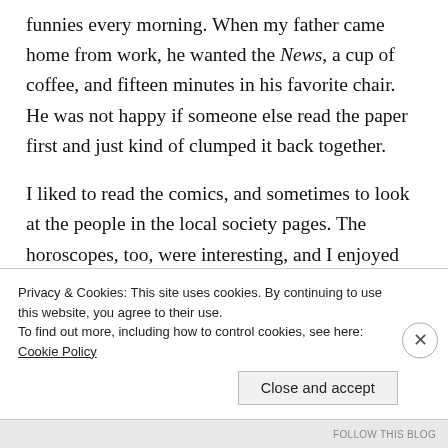funnies every morning. When my father came home from work, he wanted the News, a cup of coffee, and fifteen minutes in his favorite chair. He was not happy if someone else read the paper first and just kind of clumped it back together.
I liked to read the comics, and sometimes to look at the people in the local society pages. The horoscopes, too, were interesting, and I enjoyed the funny little columns: “Dear Abby” and “Dear Ann Landers.” A retrospect that told me some of the things that happened ten, twenty
Privacy & Cookies: This site uses cookies. By continuing to use this website, you agree to their use.
To find out more, including how to control cookies, see here: Cookie Policy